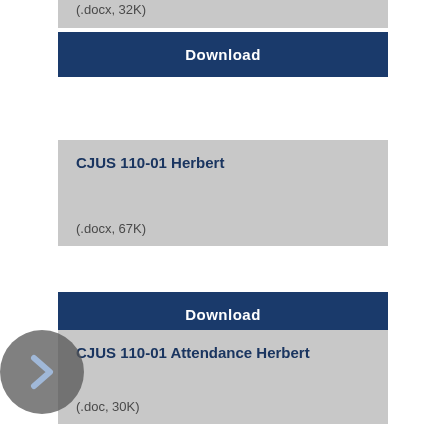(.docx, 32K)
Download
CJUS 110-01 Herbert
(.docx, 67K)
Download
CJUS 110-01 Attendance Herbert
(.doc, 30K)
Download
PUBS-104-R1 Gorham
(.docx, 78K)